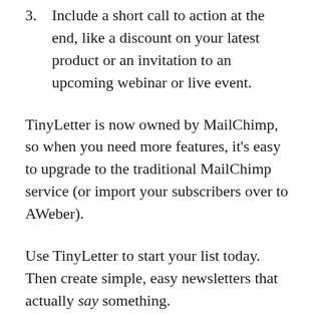3. Include a short call to action at the end, like a discount on your latest product or an invitation to an upcoming webinar or live event.
TinyLetter is now owned by MailChimp, so when you need more features, it's easy to upgrade to the traditional MailChimp service (or import your subscribers over to AWeber).
Use TinyLetter to start your list today. Then create simple, easy newsletters that actually say something.